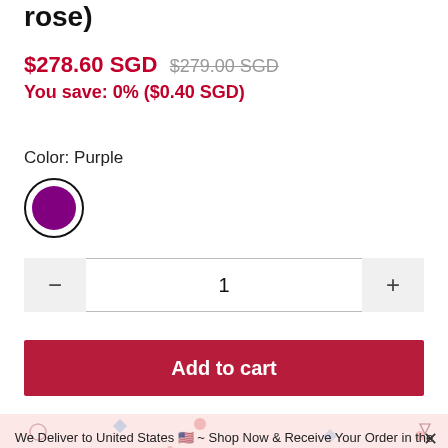rose)
$278.60 SGD $279.00 SGD
You save: 0% ($0.40 SGD)
Color: Purple
[Figure (illustration): Purple color swatch circle with dark border]
1
Add to cart
We Deliver to United States 🇺🇸 ~ Shop Now & Receive Your Order in the Next 1-5 Working Days!
International Shipping